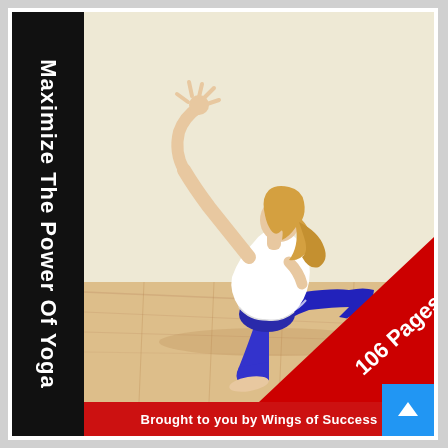[Figure (illustration): Book cover for 'Maximize The Power Of Yoga'. Black vertical spine on left with white rotated title text. Main image shows a blonde woman in blue leggings and white top performing a yoga lunge/side stretch pose on a wooden floor with light background. Red diagonal banner in bottom-right corner reads '106 Pages!'. Red bar across bottom reads 'Brought to you by Wings of Success'. Blue button with up-arrow in bottom-right corner.]